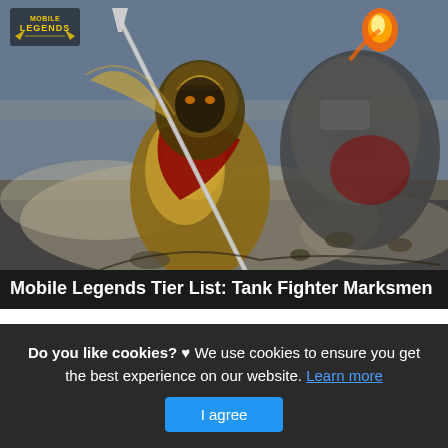[Figure (illustration): Mobile Legends game artwork showing an armored warrior character with a spear/lance in a battle scene with fire and debris. Mobile Legends logo visible in top-left corner.]
Mobile Legends Tier List: Tank Fighter Marksmen
This is actually a post or even photo approximately the Mobile Legends Tier List: Tank Fighter Marksmen Support and More, if you desire even more info around the write-up
Do you like cookies? ♥ We use cookies to ensure you get the best experience on our website. Learn more
I agree